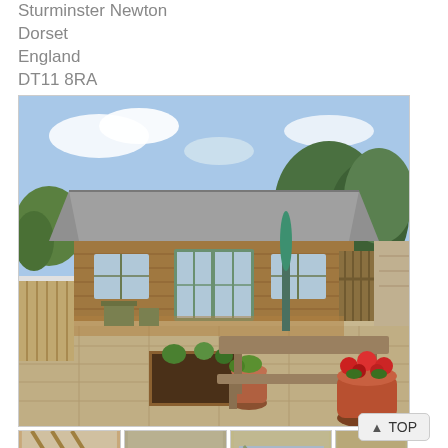Sturminster Newton
Dorset
England
DT11 8RA
[Figure (photo): Exterior photo of a wooden barn-style cottage with a corrugated metal roof, patio area with raised garden beds, terracotta pots with flowers, a long wooden picnic bench table, and a closed green parasol. The background shows trees and a wooden fence.]
[Figure (photo): Thumbnail strip showing four smaller preview photos of the property interior and exterior.]
TOP